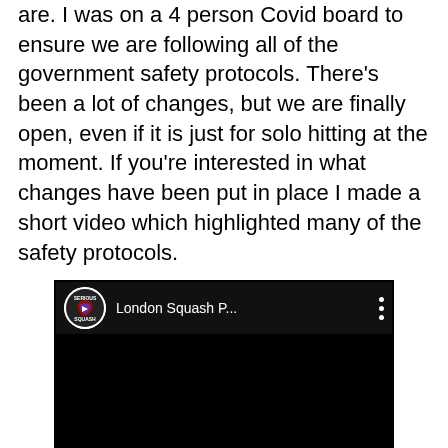are. I was on a 4 person Covid board to ensure we are following all of the government safety protocols. There's been a lot of changes, but we are finally open, even if it is just for solo hitting at the moment. If you're interested in what changes have been put in place I made a short video which highlighted many of the safety protocols.
[Figure (screenshot): YouTube video thumbnail showing London Squash P... channel with Serious Squash logo, black background]
London Squash Club Reopening Video
On top of what I mention in the video there are a few other policies in place. We originally had a finger print scanner at the front door and 24 hour access, but obviously having